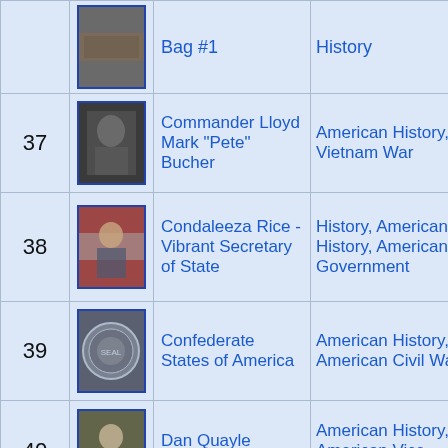| # | Image | Name | Categories | Extra |
| --- | --- | --- | --- | --- |
|  |  | Bag #1 | History |  |
| 37 | [photo] | Commander Lloyd Mark "Pete" Bucher | American History, Vietnam War | B |
| 38 | [photo] | Condaleeza Rice - Vibrant Secretary of State | History, American History, American Government |  |
| 39 | [photo] | Confederate States of America | American History, American Civil War |  |
| 40 | [photo] | Dan Quayle quotes | American History, American Vice Presidents | D |
| 41 | [photo] | Daniel Boone | American Frontier Explorers, American History, American... | D B |